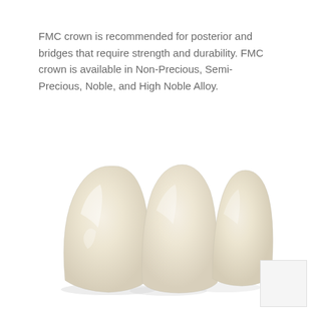FMC crown is recommended for posterior and bridges that require strength and durability. FMC crown is available in Non-Precious, Semi-Precious, Noble, and High Noble Alloy.
[Figure (photo): Three dental crowns (FMC crowns) shown side by side — off-white/ivory colored dental crowns with a smooth, glossy finish, resembling natural teeth]